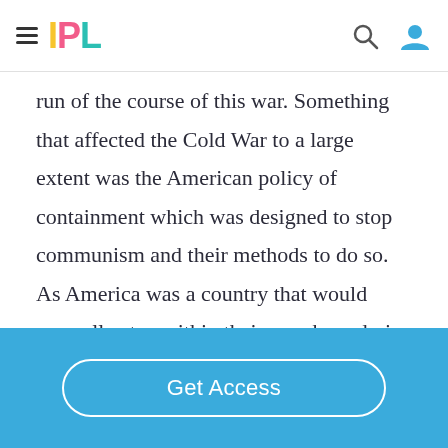IPL
run of the course of this war. Something that affected the Cold War to a large extent was the American policy of containment which was designed to stop communism and their methods to do so. As America was a country that would normally stay within their own boundaries when responding to troubles. The Cold War, in particular, was a different war
Get Access